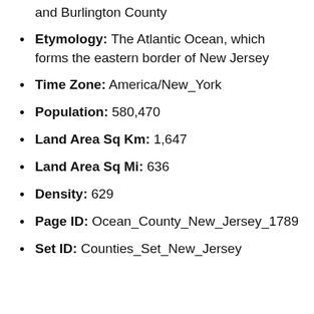and Burlington County
Etymology: The Atlantic Ocean, which forms the eastern border of New Jersey
Time Zone: America/New_York
Population: 580,470
Land Area Sq Km: 1,647
Land Area Sq Mi: 636
Density: 629
Page ID: Ocean_County_New_Jersey_1789
Set ID: Counties_Set_New_Jersey